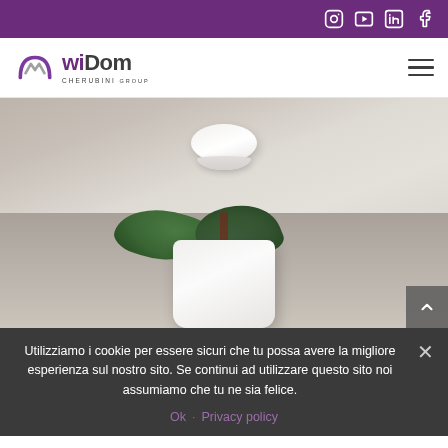Social media icons bar: Instagram, YouTube, LinkedIn, Facebook
[Figure (logo): wiDom CHERUBINI group logo with stylized W icon in purple/gray]
[Figure (photo): A white smart home device on a light-colored table surface, with a green plant in a white pot in the foreground against a beige/gray background]
Utilizziamo i cookie per essere sicuri che tu possa avere la migliore esperienza sul nostro sito. Se continui ad utilizzare questo sito noi assumiamo che tu ne sia felice.
Ok  Privacy policy